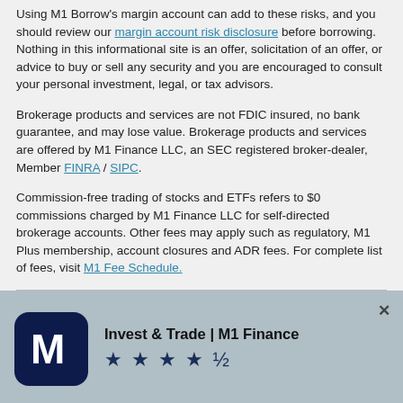Using M1 Borrow's margin account can add to these risks, and you should review our margin account risk disclosure before borrowing. Nothing in this informational site is an offer, solicitation of an offer, or advice to buy or sell any security and you are encouraged to consult your personal investment, legal, or tax advisors.
Brokerage products and services are not FDIC insured, no bank guarantee, and may lose value. Brokerage products and services are offered by M1 Finance LLC, an SEC registered broker-dealer, Member FINRA / SIPC.
Commission-free trading of stocks and ETFs refers to $0 commissions charged by M1 Finance LLC for self-directed brokerage accounts. Other fees may apply such as regulatory, M1 Plus membership, account closures and ADR fees. For complete list of fees, visit M1 Fee Schedule.
[Figure (infographic): App store banner for Invest & Trade | M1 Finance app with dark navy icon showing stylized M letter, 4.5 star rating, and 'Get the app' button on blue-grey background with X close button]